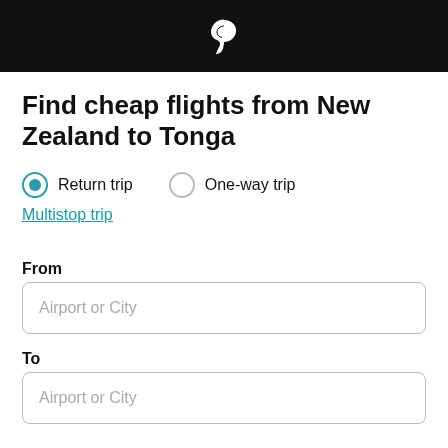Air New Zealand logo
Find cheap flights from New Zealand to Tonga
Return trip   One-way trip
Multistop trip
From
Airport or City
To
Airport or City